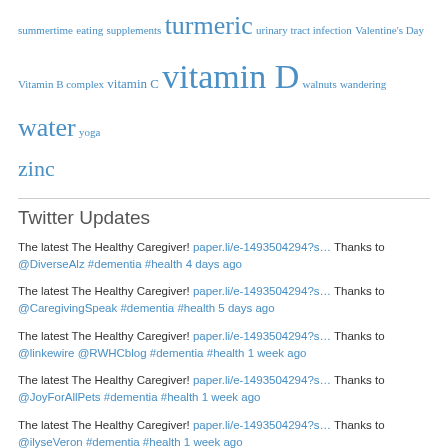summertime eating supplements turmeric urinary tract infection Valentine's Day Vitamin B complex vitamin C vitamin D walnuts wandering water yoga zinc
Twitter Updates
The latest The Healthy Caregiver! paper.li/e-1493504294?s… Thanks to @DiverseAlz #dementia #health 4 days ago
The latest The Healthy Caregiver! paper.li/e-1493504294?s… Thanks to @CaregivingSpeak #dementia #health 5 days ago
The latest The Healthy Caregiver! paper.li/e-1493504294?s… Thanks to @linkewire @RWHCblog #dementia #health 1 week ago
The latest The Healthy Caregiver! paper.li/e-1493504294?s… Thanks to @JoyForAllPets #dementia #health 1 week ago
The latest The Healthy Caregiver! paper.li/e-1493504294?s… Thanks to @ilyseVeron #dementia #health 1 week ago